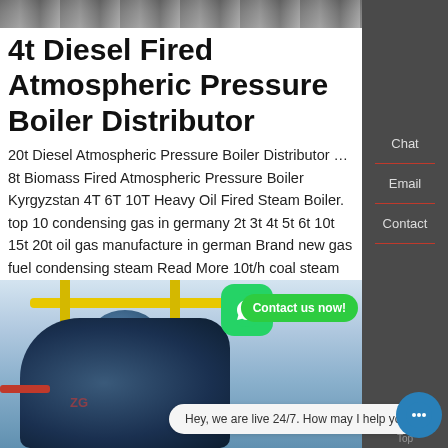[Figure (photo): Top strip of an industrial boiler photograph]
4t Diesel Fired Atmospheric Pressure Boiler Distributor
20t Diesel Atmospheric Pressure Boiler Distributor … 8t Biomass Fired Atmospheric Pressure Boiler Kyrgyzstan 4T 6T 10T Heavy Oil Fired Steam Boiler. top 10 condensing gas in germany 2t 3t 4t 5t 6t 10t 15t 20t oil gas manufacture in german Brand new gas fuel condensing steam Read More 10t/h coal steam zg
Learn More
[Figure (photo): Industrial boiler equipment in a factory setting with yellow pipes, red pipes, and a large blue cylindrical boiler body. A WhatsApp icon and 'Contact us now!' button overlay the image.]
Chat
Email
Contact
Contact us now!
Hey, we are live 24/7. How may I help you?